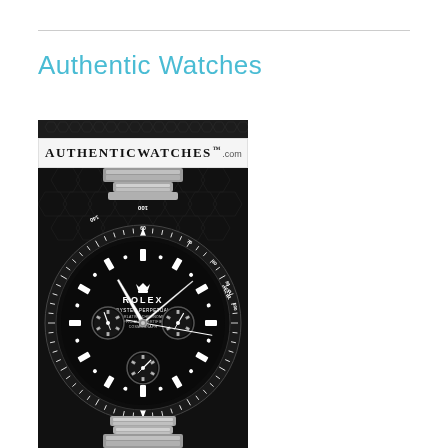Authentic Watches
[Figure (photo): AuthenticWatches.com branded image showing a close-up of a Rolex Oyster Perpetual Cosmograph Daytona watch with black dial, three sub-dials, tachymeter bezel marked with 60 UNITS PER HOUR and 100/140 markings, steel Oyster bracelet, set against a dark hexagonal pattern background. The AuthenticWatches.com logo appears in a light strip above the watch photo.]